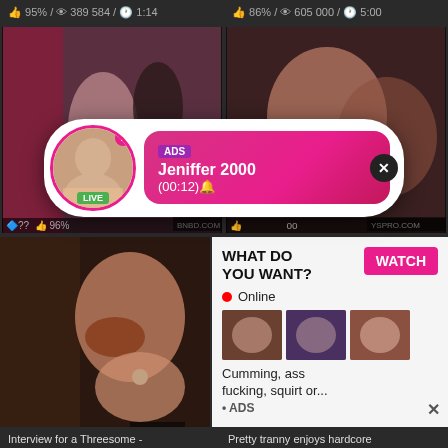95% / 389 584 / 1:14
86% / 605 000 / 5:00
[Figure (photo): Video thumbnail – couple in bedroom]
[Figure (photo): Video thumbnail – woman]
[Figure (screenshot): Ad popup overlay – ADS Jeniffer 2000 (00:12) with LIVE badge and close button]
[Figure (photo): Video thumbnail – woman, bottom left]
[Figure (screenshot): Ad widget – WHAT DO YOU WANT? WATCH, Online, mini thumbnails, Cumming ass fucking squirt or... ADS]
Interview for a Threesome -
Pretty tranny enjoys hardcore